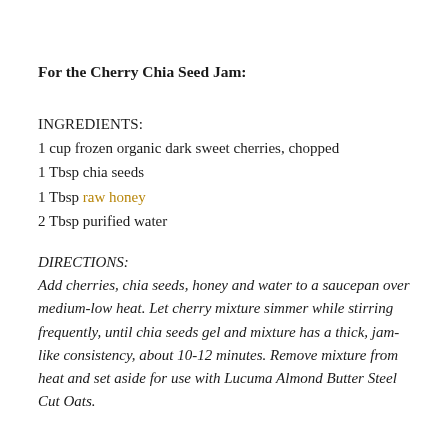For the Cherry Chia Seed Jam:
INGREDIENTS:
1 cup frozen organic dark sweet cherries, chopped
1 Tbsp chia seeds
1 Tbsp raw honey
2 Tbsp purified water
DIRECTIONS:
Add cherries, chia seeds, honey and water to a saucepan over medium-low heat. Let cherry mixture simmer while stirring frequently, until chia seeds gel and mixture has a thick, jam-like consistency, about 10-12 minutes. Remove mixture from heat and set aside for use with Lucuma Almond Butter Steel Cut Oats.